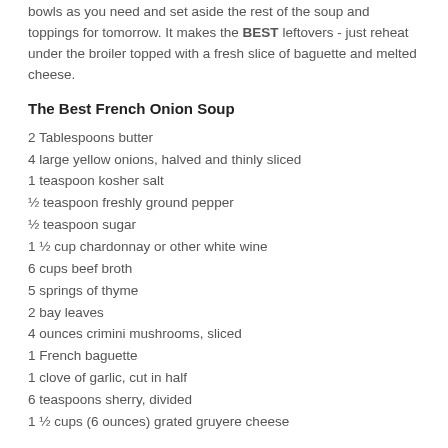bowls as you need and set aside the rest of the soup and toppings for tomorrow. It makes the BEST leftovers - just reheat under the broiler topped with a fresh slice of baguette and melted cheese.
The Best French Onion Soup
2 Tablespoons butter
4 large yellow onions, halved and thinly sliced
1 teaspoon kosher salt
½ teaspoon freshly ground pepper
½ teaspoon sugar
1 ½ cup chardonnay or other white wine
6 cups beef broth
5 springs of thyme
2 bay leaves
4 ounces crimini mushrooms, sliced
1 French baguette
1 clove of garlic, cut in half
6 teaspoons sherry, divided
1 ½ cups (6 ounces) grated gruyere cheese
1. In a... Put butter in a pot with the onions over medium...